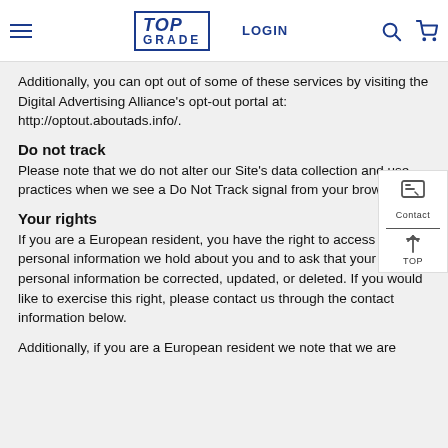[Figure (screenshot): Top navigation bar with hamburger menu, TOP GRADE logo, LOGIN text, search icon, and cart icon]
Additionally, you can opt out of some of these services by visiting the Digital Advertising Alliance's opt-out portal at: http://optout.aboutads.info/.
Do not track
Please note that we do not alter our Site's data collection and use practices when we see a Do Not Track signal from your browser.
Your rights
If you are a European resident, you have the right to access personal information we hold about you and to ask that your personal information be corrected, updated, or deleted. If you would like to exercise this right, please contact us through the contact information below.
Additionally, if you are a European resident we note that we are